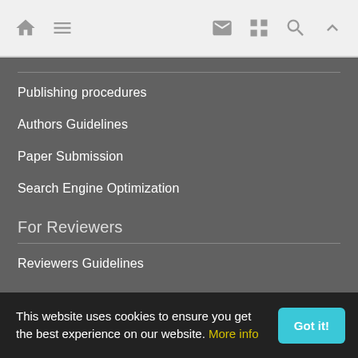Navigation bar with home, menu, email, grid, search, and up icons
Publishing procedures
Authors Guidelines
Paper Submission
Search Engine Optimization
For Reviewers
Reviewers Guidelines
For Readers
This website uses cookies to ensure you get the best experience on our website. More info